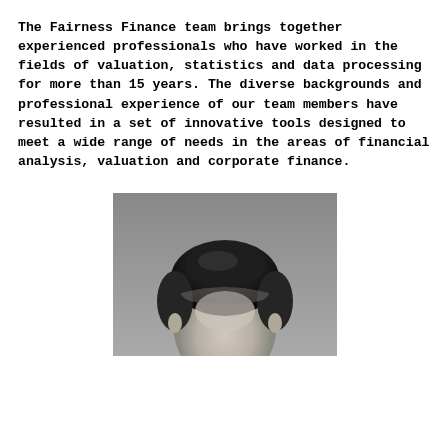The Fairness Finance team brings together experienced professionals who have worked in the fields of valuation, statistics and data processing for more than 15 years. The diverse backgrounds and professional experience of our team members have resulted in a set of innovative tools designed to meet a wide range of needs in the areas of financial analysis, valuation and corporate finance.
[Figure (photo): Black and white portrait photo showing the top portion of a person's head with dark hair, cropped at forehead level, against a grey gradient background.]